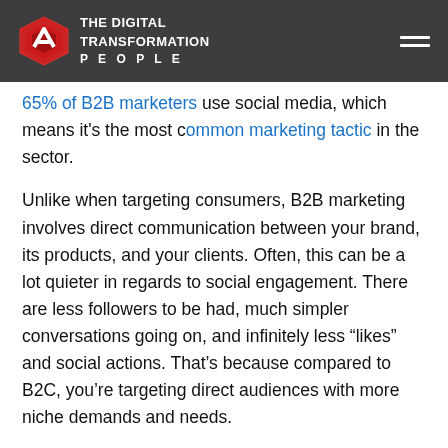THE DIGITAL TRANSFORMATION PEOPLE
65% of B2B marketers use social media, which means it's the most common marketing tactic in the sector.
Unlike when targeting consumers, B2B marketing involves direct communication between your brand, its products, and your clients. Often, this can be a lot quieter in regards to social engagement. There are less followers to be had, much simpler conversations going on, and infinitely less “likes” and social actions. That’s because compared to B2C, you’re targeting direct audiences with more niche demands and needs.
That said, social media marketing can be extremely effective for any business, even B2B, when used in the appropriate context. It helps establish your brand—any brand, really—as an authority in your market, boosts exposure and positive